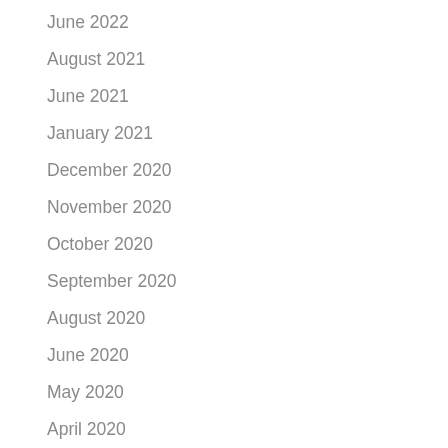June 2022
August 2021
June 2021
January 2021
December 2020
November 2020
October 2020
September 2020
August 2020
June 2020
May 2020
April 2020